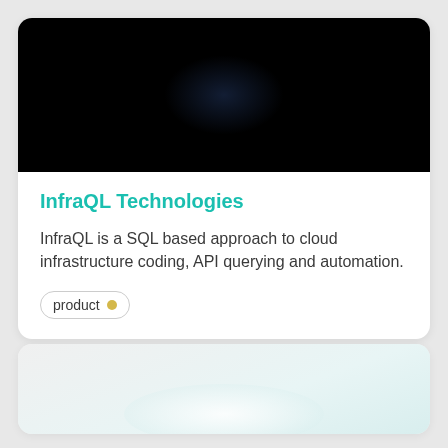[Figure (photo): Dark background image with faint blue-tinted radial glow at center, used as card header image]
InfraQL Technologies
InfraQL is a SQL based approach to cloud infrastructure coding, API querying and automation.
product
[Figure (photo): Light grey-to-teal gradient card with blurred white glow, partially visible card below]